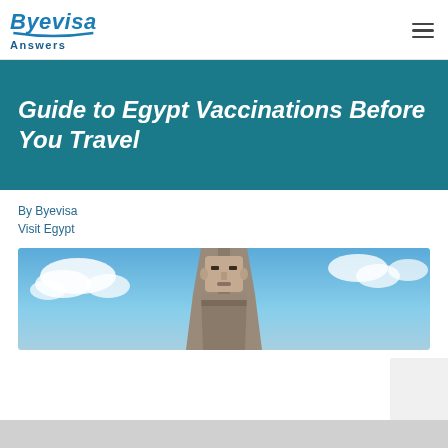Byevisa Answers
Guide to Egypt Vaccinations Before You Travel
By Byevisa
Visit Egypt
[Figure (photo): Photo of an ancient Egyptian pharaoh statue head against a blue sky with clouds]